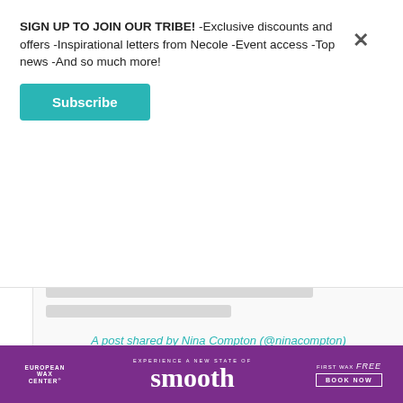SIGN UP TO JOIN OUR TRIBE! -Exclusive discounts and offers -Inspirational letters from Necole -Event access -Top news -And so much more!
Subscribe
A post shared by Nina Compton (@ninacompton)
Nina Compton is another alumnus of Top Chef, and her roots go back to the shores of Saint Lucia. Compton, also a James Beard award-winner, served as a chef in some of the best restaurants in New
[Figure (infographic): European Wax Center advertisement banner with purple background, text 'EXPERIENCE A NEW STATE OF smooth' and 'FIRST WAX free BOOK NOW']